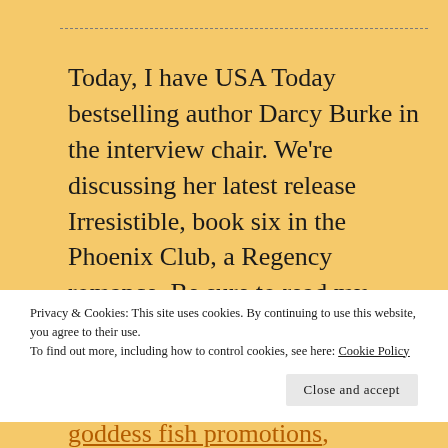Today, I have USA Today bestselling author Darcy Burke in the interview chair.  We're discussing her latest release Irresistible, book six in the Phoenix Club, a Regency romance.  Be sure to read my review.  And don't forget to enter
Privacy & Cookies: This site uses cookies. By continuing to use this website, you agree to their use.
To find out more, including how to control cookies, see here: Cookie Policy
Close and accept
goddess fish promotions, historical